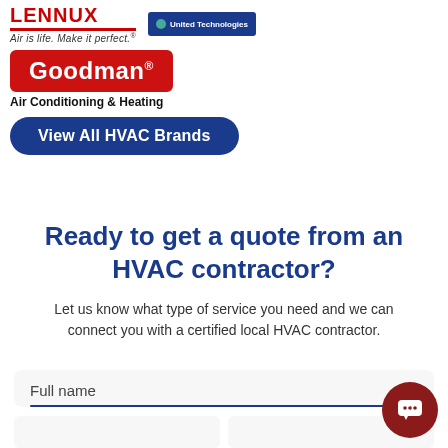[Figure (logo): Lennox logo with tagline 'Air is life. Make it perfect.' and United Technologies badge]
[Figure (logo): Goodman Air Conditioning & Heating logo (red rectangle with white text)]
Air Conditioning & Heating
View All HVAC Brands
Ready to get a quote from an HVAC contractor?
Let us know what type of service you need and we can connect you with a certified local HVAC contractor.
Full name